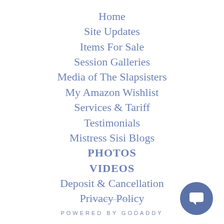Home
Site Updates
Items For Sale
Session Galleries
Media of The Slapsisters
My Amazon Wishlist
Services & Tariff
Testimonials
Mistress Sisi Blogs
PHOTOS
VIDEOS
Deposit & Cancellation
Privacy Policy
POWERED BY GODADDY
[Figure (illustration): Dark blue chat bubble icon in a circle, bottom right corner]